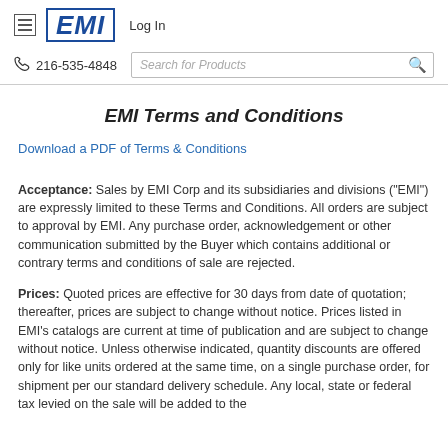EMI  Log In  216-535-4848  Search for Products
EMI Terms and Conditions
Download a PDF of Terms & Conditions
Acceptance: Sales by EMI Corp and its subsidiaries and divisions ("EMI") are expressly limited to these Terms and Conditions. All orders are subject to approval by EMI. Any purchase order, acknowledgement or other communication submitted by the Buyer which contains additional or contrary terms and conditions of sale are rejected.
Prices: Quoted prices are effective for 30 days from date of quotation; thereafter, prices are subject to change without notice. Prices listed in EMI's catalogs are current at time of publication and are subject to change without notice. Unless otherwise indicated, quantity discounts are offered only for like units ordered at the same time, on a single purchase order, for shipment per our standard delivery schedule. Any local, state or federal tax levied on the sale will be added to the purchase price and paid by the Buyer. Any pricing